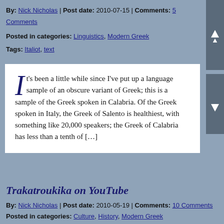By: Nick Nicholas | Post date: 2010-07-15 | Comments: 5 Comments
Posted in categories: Linguistics, Modern Greek
Tags: Italiot, text
It's been a little while since I've put up a language sample of an obscure variant of Greek; this is a sample of the Greek spoken in Calabria. Of the Greek spoken in Italy, the Greek of Salento is healthiest, with something like 20,000 speakers; the Greek of Calabria has less than a tenth of […]
Trakatroukika on YouTube
By: Nick Nicholas | Post date: 2010-05-19 | Comments: 10 Comments
Posted in categories: Culture, History, Modern Greek
Tags: Kizderbent, language contact, linguistic geography,